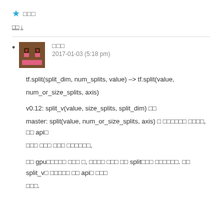★ □□□
□□ ↓
□□□
2017-01-03 (5:18 pm)

tf.split(split_dim, num_splits, value) –> tf.split(value, num_or_size_splits, axis)
v0.12: split_v(value, size_splits, split_dim) □□
master: split(value, num_or_size_splits, axis) □ □□□□□□ □□□□, □□ api□ □□□ □□□ □□□ □□□□□□,

□□ gpu□□□□□ □□□ □, □□□□ □□□ □□ split□□□ □□□□□□. □□ split_v□ □□□□□ □□ api□ □□□ □□□.